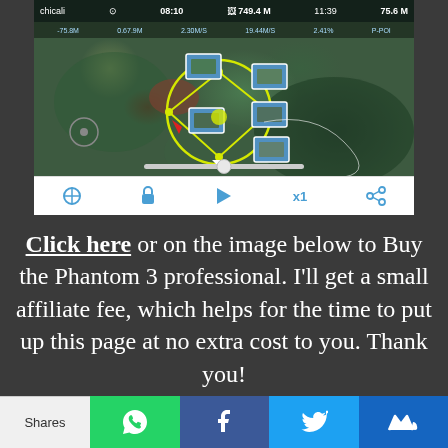[Figure (screenshot): Drone flight app screenshot showing aerial satellite map with yellow flight path circle and waypoints, thumbnail images of captured photos, red arrow marker, HUD overlay with telemetry data (08:10 time, 749.4M, 75.6M distances), and bottom playback controls]
Click here or on the image below to Buy the Phantom 3 professional. I'll get a small affiliate fee, which helps for the time to put up this page at no extra cost to you. Thank you!
Shares [WhatsApp] [Facebook] [Twitter] [MightyWise]